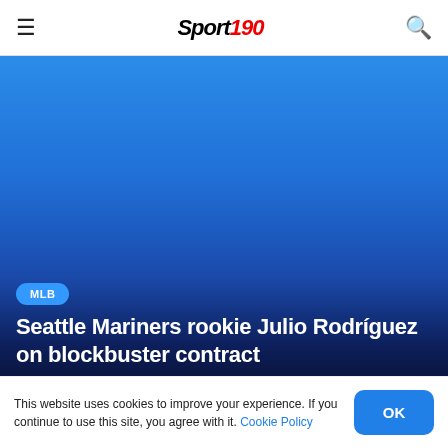Sport 190
[Figure (photo): Blue gradient hero image background for a Seattle Mariners sports article, transitioning from bright blue at the top to dark navy at the bottom, with an MLB badge and article title overlay.]
MLB
Seattle Mariners rookie Julio Rodríguez on blockbuster contract
août 28, 2022
This website uses cookies to improve your experience. If you continue to use this site, you agree with it. Cookie Policy